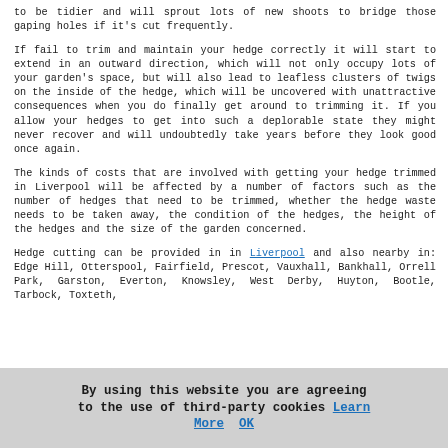to be tidier and will sprout lots of new shoots to bridge those gaping holes if it's cut frequently.
If fail to trim and maintain your hedge correctly it will start to extend in an outward direction, which will not only occupy lots of your garden's space, but will also lead to leafless clusters of twigs on the inside of the hedge, which will be uncovered with unattractive consequences when you do finally get around to trimming it. If you allow your hedges to get into such a deplorable state they might never recover and will undoubtedly take years before they look good once again.
The kinds of costs that are involved with getting your hedge trimmed in Liverpool will be affected by a number of factors such as the number of hedges that need to be trimmed, whether the hedge waste needs to be taken away, the condition of the hedges, the height of the hedges and the size of the garden concerned.
Hedge cutting can be provided in in Liverpool and also nearby in: Edge Hill, Otterspool, Fairfield, Prescot, Vauxhall, Bankhall, Orrell Park, Garston, Everton, Knowsley, West Derby, Huyton, Bootle, Tarbock, Toxteth,
By using this website you are agreeing to the use of third-party cookies Learn More OK